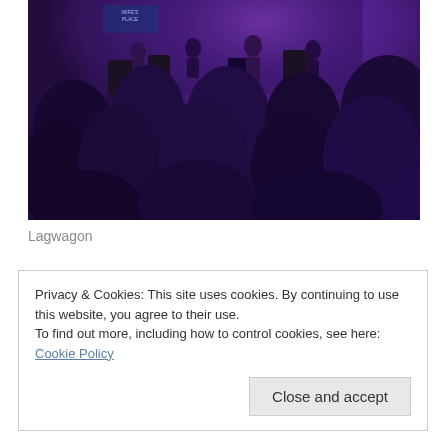[Figure (photo): Concert photo showing a crowd of people from behind watching a band performing on a stage lit with purple and white lights. A sign reading 'WIFE'S PLACE' is visible in the background.]
Lagwagon
Privacy & Cookies: This site uses cookies. By continuing to use this website, you agree to their use.
To find out more, including how to control cookies, see here: Cookie Policy
Close and accept